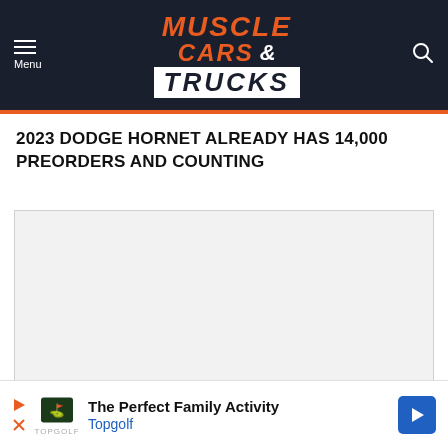Muscle Cars & Trucks
2023 DODGE HORNET ALREADY HAS 14,000 PREORDERS AND COUNTING
[Figure (photo): Empty light gray image placeholder for article photo]
The Perfect Family Activity Topgolf